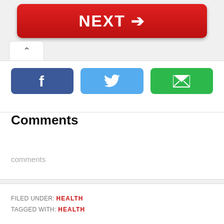[Figure (other): Red NEXT button with right arrow]
[Figure (other): Social share buttons: Facebook (dark blue), Twitter (light blue), Email (green)]
Comments
comments
FILED UNDER: HEALTH
TAGGED WITH: HEALTH